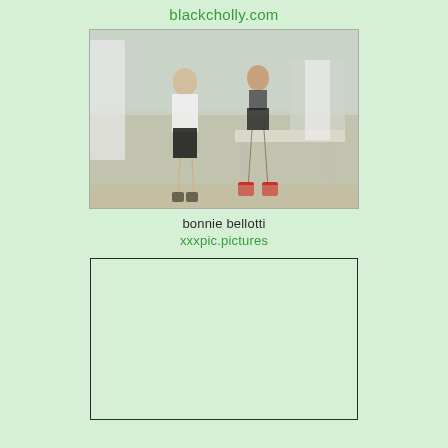blackcholly.com
[Figure (photo): Two women standing in a room resembling a medical office. One wears a white shirt and black skirt with glasses, the other wears black lingerie with red heels. Medical examination table visible in background.]
bonnie bellotti
xxxpic.pictures
[Figure (other): Empty bordered rectangle placeholder box]